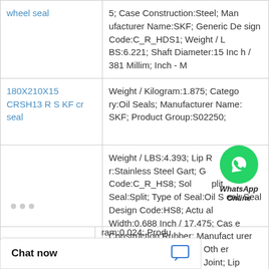| Product Name | Specifications |
| --- | --- |
| wheel seal | 5; Case Construction:Steel; Manufacturer Name:SKF; Generic Design Code:C_R_HDS1; Weight / LBS:6.221; Shaft Diameter:15 Inch / 381 Millim; Inch - M |
| 180X210X15 CRSH13 R SKF cr seal | Weight / Kilogram:1.875; Category:Oil Seals; Manufacturer Name: SKF; Product Group:S02250; |
| 32X45X7 HMS5 RG SKF cr wheel seal | Weight / LBS:4.393; Lip Retainer:Stainless Steel Garter; Generic Design Code:C_R_HS8; Solid / Split Seal:Split; Type of Seal:Oil Seal; Seal Design Code:HS8; Actual Width:0.688 Inch / 17.475; Case Construction:Rubber; Manufacturer Item Number:2300370; Other Features:Large / 1 Butt Joint; Lip Material: |